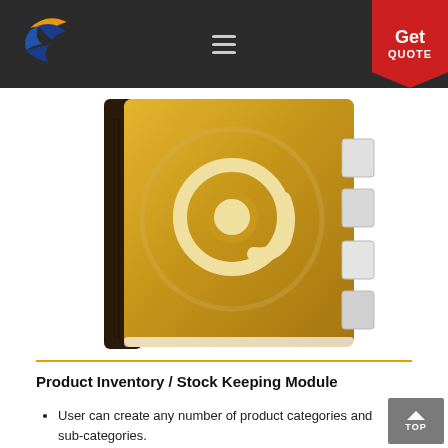Navigation bar with logo and Get Quote button
[Figure (illustration): A golden/tan colored address book or contact book with a large @ symbol on the cover, dark brown spine, white tabbed pages on the right side. The book has a worn leather texture appearance.]
Product Inventory / Stock Keeping Module
User can create any number of product categories and sub-categories.